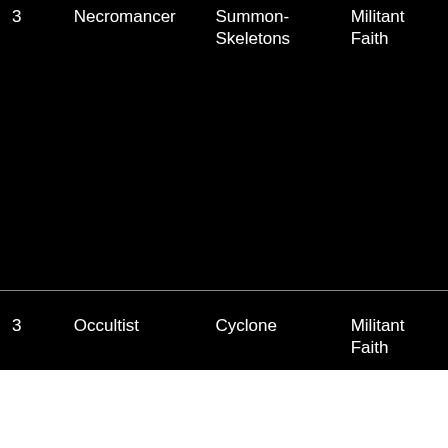| 3 | Necromancer | Summon-Skeletons | Militant Faith |
| 3 | Occultist | Cyclone | Militant Faith |